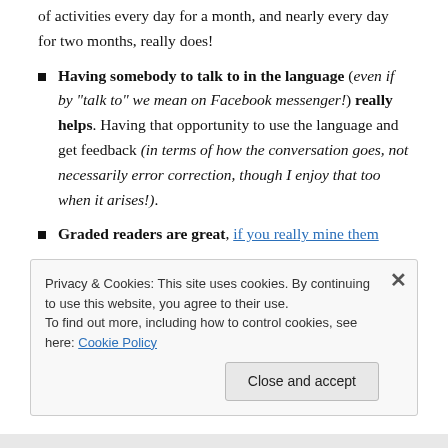of activities every day for a month, and nearly every day for two months, really does!
Having somebody to talk to in the language (even if by “talk to” we mean on Facebook messenger!) really helps. Having that opportunity to use the language and get feedback (in terms of how the conversation goes, not necessarily error correction, though I enjoy that too when it arises!).
Graded readers are great, if you really mine them
Privacy & Cookies: This site uses cookies. By continuing to use this website, you agree to their use.
To find out more, including how to control cookies, see here: Cookie Policy
Close and accept